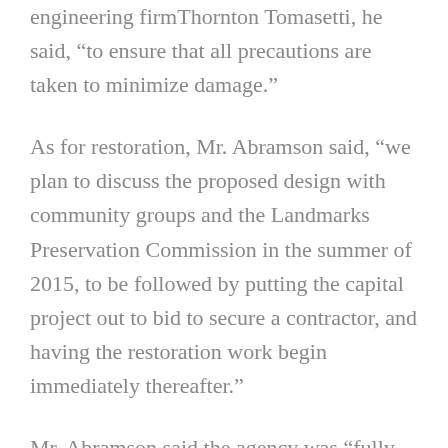engineering firmThornton Tomasetti, he said, “to ensure that all precautions are taken to minimize damage.”
As for restoration, Mr. Abramson said, “we plan to discuss the proposed design with community groups and the Landmarks Preservation Commission in the summer of 2015, to be followed by putting the capital project out to bid to secure a contractor, and having the restoration work begin immediately thereafter.”
Mr. Abramson said the agency was “fully committed to ensuring that any additional funds required for the restoration are allocated.”